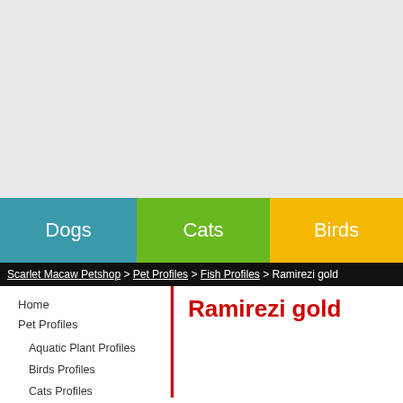[Figure (other): Advertisement banner placeholder, light gray background]
Dogs | Cats | Birds | Fi...
Scarlet Macaw Petshop > Pet Profiles > Fish Profiles > Ramirezi gold
Home
Pet Profiles
Aquatic Plant Profiles
Birds Profiles
Cats Profiles
Dogs Profiles
Fish Profiles
Ramirezi gold